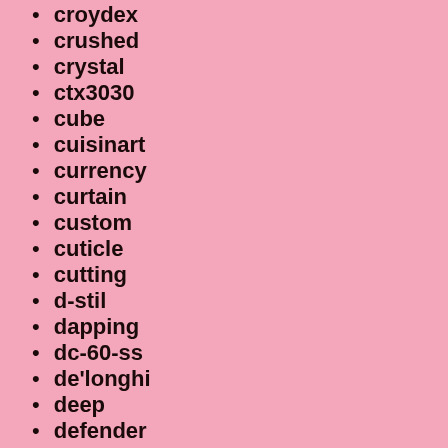croydex
crushed
crystal
ctx3030
cube
cuisinart
currency
curtain
custom
cuticle
cutting
d-stil
dapping
dc-60-ss
de'longhi
deep
defender
defra
deionization